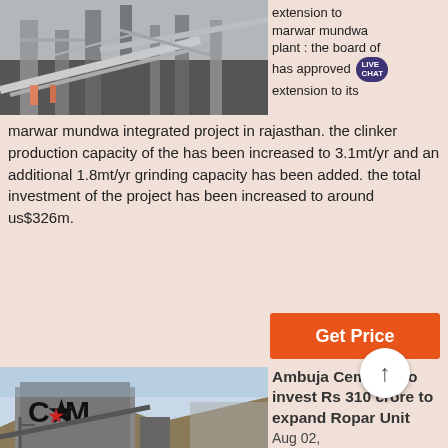[Figure (photo): Aerial/elevated view of industrial cement plant conveyor and processing equipment]
extension to marwar mundwa plant : the board of has approved extension to its
marwar mundwa integrated project in rajasthan. the clinker production capacity of the has been increased to 3.1mt/yr and an additional 1.8mt/yr grinding capacity has been added. the total investment of the project has been increased to around us$326m.
[Figure (photo): Industrial cement crushing/grinding plant with CCM logo, machinery and conveyor belts in outdoor rocky terrain]